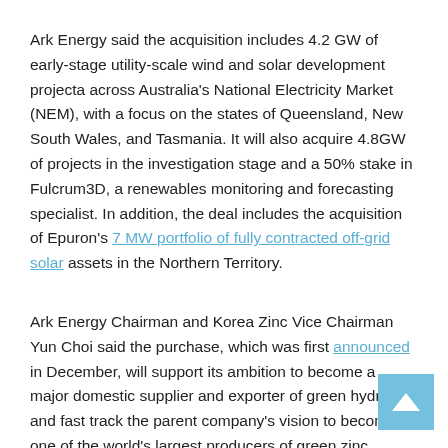Ark Energy said the acquisition includes 4.2 GW of early-stage utility-scale wind and solar development projecta across Australia's National Electricity Market (NEM), with a focus on the states of Queensland, New South Wales, and Tasmania. It will also acquire 4.8GW of projects in the investigation stage and a 50% stake in Fulcrum3D, a renewables monitoring and forecasting specialist. In addition, the deal includes the acquisition of Epuron's 7 MW portfolio of fully contracted off-grid solar assets in the Northern Territory.
Ark Energy Chairman and Korea Zinc Vice Chairman Yun Choi said the purchase, which was first announced in December, will support its ambition to become a major domestic supplier and exporter of green hydrogen and fast track the parent company's vision to become one of the world's largest producers of green zinc.